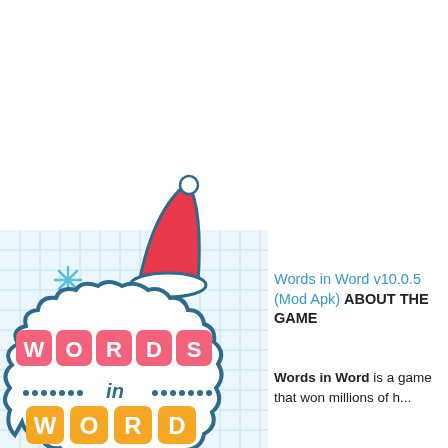[Figure (illustration): Words in Word game logo on a light blue grid background with a Santa hat on top. The logo shows 'WORDS' in pink tiles, 'in' in blue script, and 'WORD' in orange tiles, surrounded by a cloud-like teal border. Decorative snowflake and dot elements are visible.]
Words in Word v10.0.5 (Mod Apk) ABOUT THE GAME
Words in Word is a game that won millions of h...